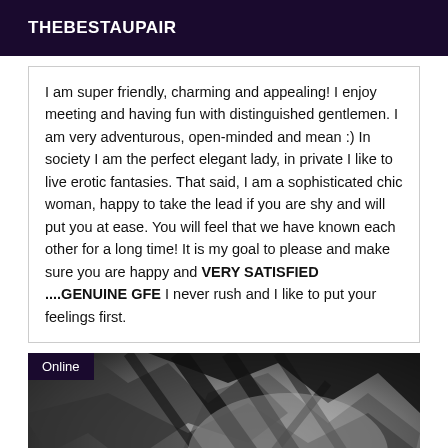THEBESTAUPAIR
I am super friendly, charming and appealing! I enjoy meeting and having fun with distinguished gentlemen. I am very adventurous, open-minded and mean :) In society I am the perfect elegant lady, in private I like to live erotic fantasies. That said, I am a sophisticated chic woman, happy to take the lead if you are shy and will put you at ease. You will feel that we have known each other for a long time! It is my goal to please and make sure you are happy and VERY SATISFIED ....GENUINE GFE I never rush and I like to put your feelings first.
[Figure (photo): Grayscale close-up photo of what appears to be high-heeled shoes with straps, with an 'Online' badge overlay in the top-left corner]